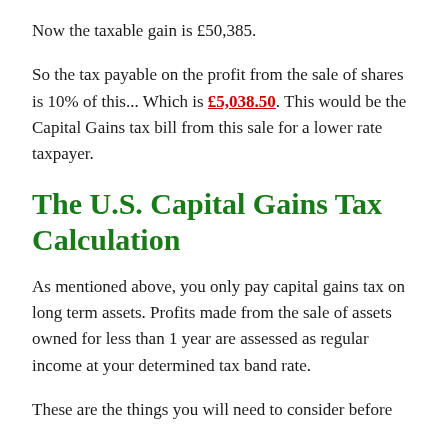Now the taxable gain is £50,385.
So the tax payable on the profit from the sale of shares is 10% of this... Which is £5,038.50. This would be the Capital Gains tax bill from this sale for a lower rate taxpayer.
The U.S. Capital Gains Tax Calculation
As mentioned above, you only pay capital gains tax on long term assets. Profits made from the sale of assets owned for less than 1 year are assessed as regular income at your determined tax band rate.
These are the things you will need to consider before